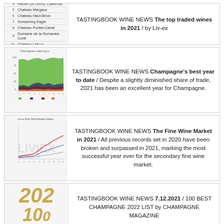| # | Name |
| --- | --- |
| 4 | Harlan (or Léon), Cabernet |
| 5 | Chateau Margaux |
| 6 | Chateau Haut-Brion |
| 7 | Screaming Eagle |
| 8 | Chateau Pontet-Canet |
| 9 | Domaine de la Romanée-Conti |
| 10 | Chateau Latour |
TASTINGBOOK WINE NEWS The top traded wines in 2021 / by Liv-ex
[Figure (area-chart): Coloured area chart showing Champagne's market share over time, with green as the dominant area and smaller dark red, dark blue, and orange areas at the bottom.]
TASTINGBOOK WINE NEWS Champagne's best year to date / Despite a slightly diminished share of trade, 2021 has been an excellent year for Champagne.
[Figure (line-chart): Line chart showing Fine Wine Market trends with LIV|EX watermark, multiple coloured lines trending upward over time.]
TASTINGBOOK WINE NEWS The Fine Wine Market in 2021 / All previous records set in 2020 have been broken and surpassed in 2021, marking the most successful year ever for the secondary fine wine market.
[Figure (illustration): Gold stylized '100' text and 'CHAMP' text below, part of a Champagne Magazine 100 Best Champagne 2022 logo/cover image.]
TASTINGBOOK WINE NEWS 7.12.2021 / 100 BEST CHAMPAGNE 2022 LIST by CHAMPAGNE MAGAZINE